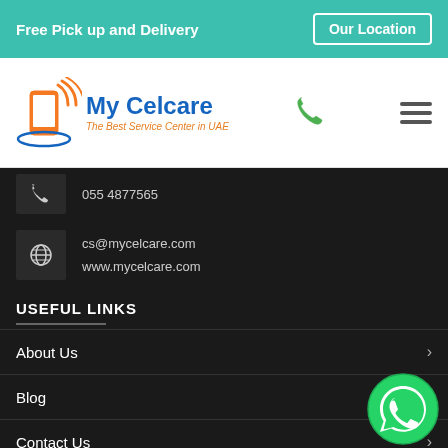Free Pick up and Delivery | Our Location
[Figure (logo): My Celcare logo with phone graphic and tagline 'The Best Service Center in UAE']
055 4877565
cs@mycelcare.com
www.mycelcare.com
USEFUL LINKS
About Us
Blog
Contact Us
BUSINESS HOURS